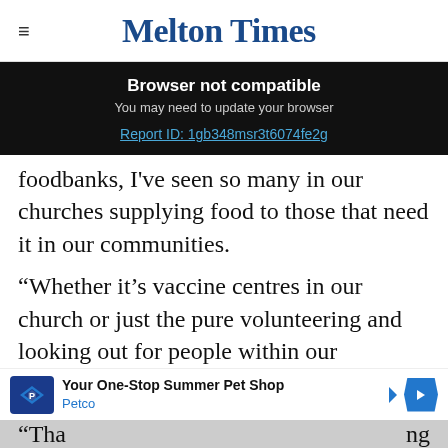Melton Times
[Figure (screenshot): Browser not compatible warning banner with black background. Title: 'Browser not compatible'. Subtitle: 'You may need to update your browser'. Link: 'Report ID: 1gb348msr3t6074fe2g']
foodbanks, I've seen so many in our churches supplying food to those that need it in our communities.
“Whether it’s vaccine centres in our church or just the pure volunteering and looking out for people within our communities.
[Figure (screenshot): Petco advertisement banner: 'Your One-Stop Summer Pet Shop' with Petco logo and blue diamond arrow icon.]
“Tha… ng